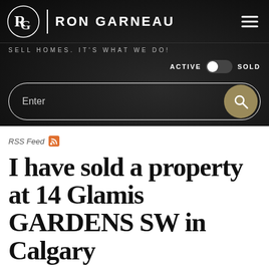[Figure (logo): Ron Garneau real estate brand logo with circular RG monogram, vertical white divider, and RON GARNEAU text in white on black background, with hamburger menu icon top right]
SELL HOMES. IT'S WHAT WE DO!
ACTIVE  SOLD  (toggle)
Enter (search bar with filter icon and search button)
RSS Feed
I have sold a property at 14 Glamis GARDENS SW in Calgary